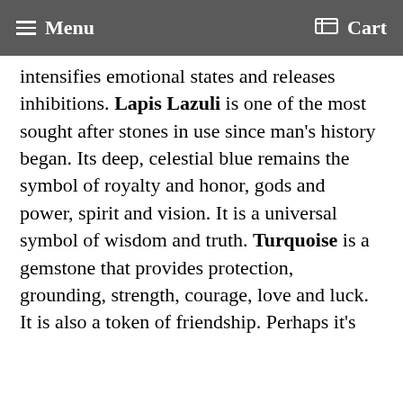Menu  Cart
intensifies emotional states and releases inhibitions. Lapis Lazuli is one of the most sought after stones in use since man's history began. Its deep, celestial blue remains the symbol of royalty and honor, gods and power, spirit and vision. It is a universal symbol of wisdom and truth. Turquoise is a gemstone that provides protection, grounding, strength, courage, love and luck.  It is also a token of friendship. Perhaps it's